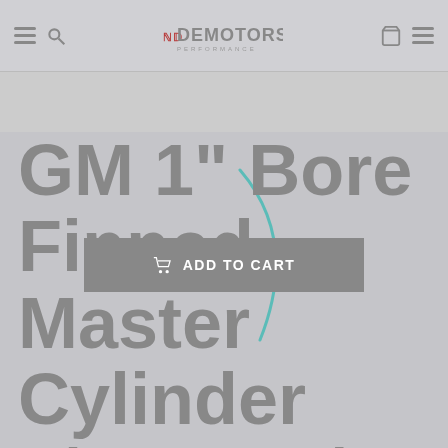NDEMOTOR PERFORMANCE
GM 1" Bore Finned Master Cylinder 9/16" & 1/2" Ports on Both Sides Chrome